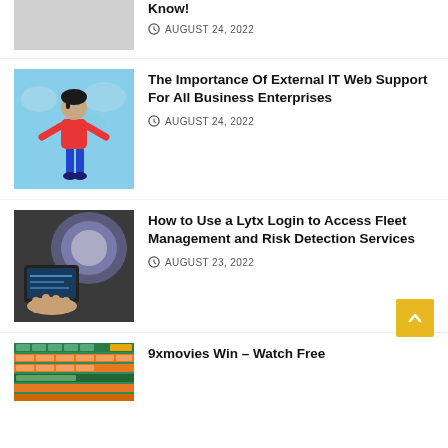[Figure (photo): Gray placeholder thumbnail image (top, partially visible)]
Know!
AUGUST 24, 2022
[Figure (illustration): Illustration of a woman in red top and blue pants with speech bubbles on blue background]
The Importance Of External IT Web Support For All Business Enterprises
AUGUST 24, 2022
[Figure (photo): Photo of fleet management device or dashcam hardware]
How to Use a Lytx Login to Access Fleet Management and Risk Detection Services
AUGUST 23, 2022
[Figure (screenshot): Screenshot of a website with green and orange colored rows]
9xmovies Win – Watch Free